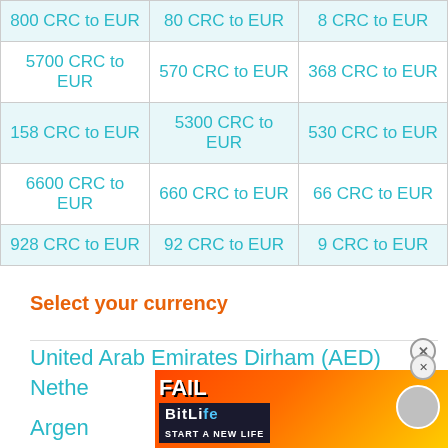| 800 CRC to EUR | 80 CRC to EUR | 8 CRC to EUR |
| 5700 CRC to EUR | 570 CRC to EUR | 368 CRC to EUR |
| 158 CRC to EUR | 5300 CRC to EUR | 530 CRC to EUR |
| 6600 CRC to EUR | 660 CRC to EUR | 66 CRC to EUR |
| 928 CRC to EUR | 92 CRC to EUR | 9 CRC to EUR |
Select your currency
United Arab Emirates Dirham (AED)
Nethe...
Argen...
[Figure (screenshot): BitLife advertisement banner with 'FAIL' text and 'START A NEW LIFE' tagline on orange/red gradient background]